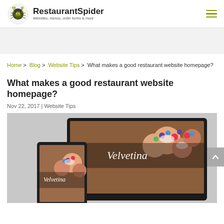RestaurantSpider — Websites, menus, order forms & more
Home > Blog > Website Tips > What makes a good restaurant website homepage?
What makes a good restaurant website homepage?
Nov 22, 2017 | Website Tips
[Figure (screenshot): Screenshot of a restaurant website called 'Velvetina' displayed on a laptop and tablet device, showing a dark header with colorful desserts/pastries and cursive branding text.]